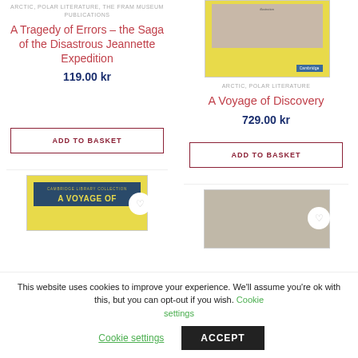ARCTIC, POLAR LITERATURE, THE FRAM MUSEUM PUBLICATIONS
A Tragedy of Errors – the Saga of the Disastrous Jeannette Expedition
119.00 kr
[Figure (photo): Book cover for A Voyage of Discovery on yellow background]
ARCTIC, POLAR LITERATURE
A Voyage of Discovery
729.00 kr
ADD TO BASKET
ADD TO BASKET
[Figure (photo): Book cover: Cambridge Library Collection A Voyage of, yellow background with blue title block]
[Figure (photo): Book cover: grey/sepia toned image]
This website uses cookies to improve your experience. We'll assume you're ok with this, but you can opt-out if you wish. Cookie settings
ACCEPT